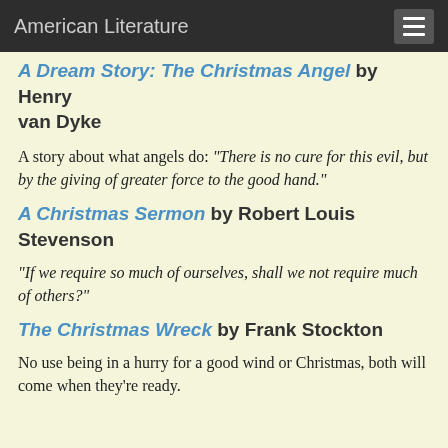American Literature
A Dream Story: The Christmas Angel by Henry van Dyke
A story about what angels do: "There is no cure for this evil, but by the giving of greater force to the good hand."
A Christmas Sermon by Robert Louis Stevenson
"If we require so much of ourselves, shall we not require much of others?"
The Christmas Wreck by Frank Stockton
No use being in a hurry for a good wind or Christmas, both will come when they're ready.